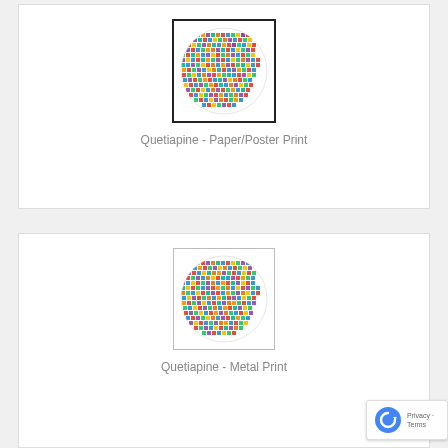[Figure (illustration): Product card showing a circular mosaic/pixel art visualization of Quetiapine molecule with colorful squares arranged in a circle, framed with a black border. Label: Quetiapine - Paper/Poster Print]
Quetiapine - Paper/Poster Print
[Figure (illustration): Product card showing a circular mosaic/pixel art visualization of Quetiapine molecule with colorful squares arranged in a circle, framed with a light gray border. Label: Quetiapine - Metal Print]
Quetiapine - Metal Print